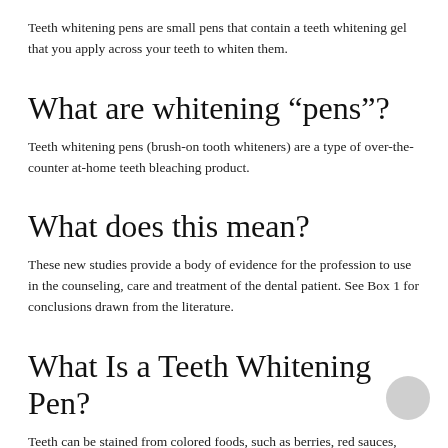Teeth whitening pens are small pens that contain a teeth whitening gel that you apply across your teeth to whiten them.
What are whitening “pens”?
Teeth whitening pens (brush-on tooth whiteners) are a type of over-the-counter at-home teeth bleaching product.
What does this mean?
These new studies provide a body of evidence for the profession to use in the counseling, care and treatment of the dental patient. See Box 1 for conclusions drawn from the literature.
What Is a Teeth Whitening Pen?
Teeth can be stained from colored foods, such as berries, red sauces, coffee, tea, red wine, dark-colored sodas, and cigarettes. Like whitening toothpaste, a teeth whitening pen fights these common stains—but it differs from toothpaste because of its size, portability, and general